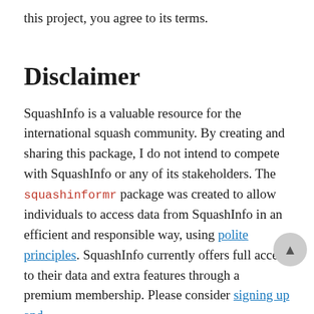this project, you agree to its terms.
Disclaimer
SquashInfo is a valuable resource for the international squash community. By creating and sharing this package, I do not intend to compete with SquashInfo or any of its stakeholders. The squashinformr package was created to allow individuals to access data from SquashInfo in an efficient and responsible way, using polite principles. SquashInfo currently offers full access to their data and extra features through a premium membership. Please consider signing up and